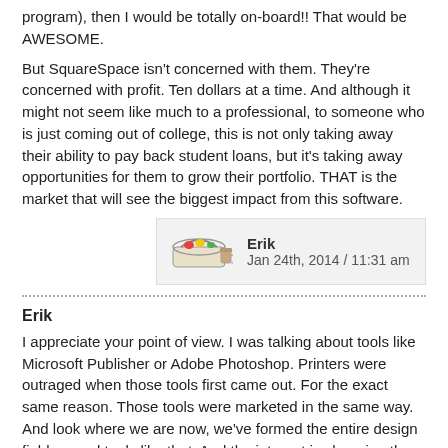program), then I would be totally on-board!! That would be AWESOME.
But SquareSpace isn't concerned with them. They're concerned with profit. Ten dollars at a time. And although it might not seem like much to a professional, to someone who is just coming out of college, this is not only taking away their ability to pay back student loans, but it's taking away opportunities for them to grow their portfolio. THAT is the market that will see the biggest impact from this software.
Erik
Jan 24th, 2014 / 11:31 am
Erik
I appreciate your point of view. I was talking about tools like Microsoft Publisher or Adobe Photoshop. Printers were outraged when those tools first came out. For the exact same reason. Those tools were marketed in the same way. And look where we are now, we've formed the entire design field around tools like that. And the internet is changing the game again.
The cure is very simple. Keep doing better work. Come up with new stuff. This thing is only a threat to bad designers who charge too much. Half of your value as a designer is how you explain things to your client, it's a different business.